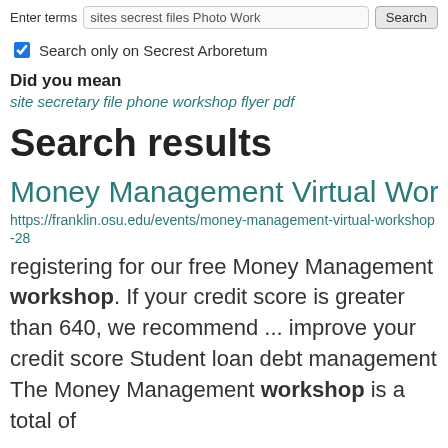Enter terms  sites secrest files Photo Work  Search
Search only on Secrest Arboretum
Did you mean
site secretary file phone workshop flyer pdf
Search results
Money Management Virtual Workshop
https://franklin.osu.edu/events/money-management-virtual-workshop-28
registering for our free Money Management workshop. If your credit score is greater than 640, we recommend ... improve your credit score Student loan debt management The Money Management workshop is a total of